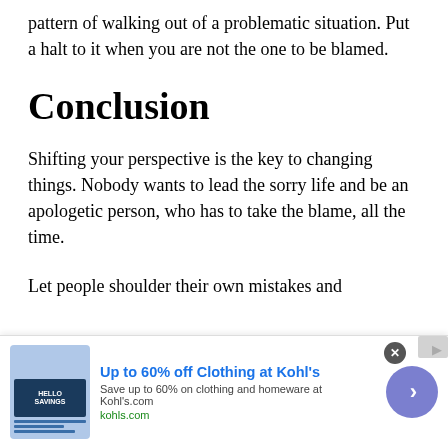pattern of walking out of a problematic situation. Put a halt to it when you are not the one to be blamed.
Conclusion
Shifting your perspective is the key to changing things. Nobody wants to lead the sorry life and be an apologetic person, who has to take the blame, all the time.
Let people shoulder their own mistakes and
[Figure (other): Advertisement banner: Up to 60% off Clothing at Kohl's. Save up to 60% on clothing and homeware at Kohl's.com. kohls.com. With a circular arrow button and close button.]